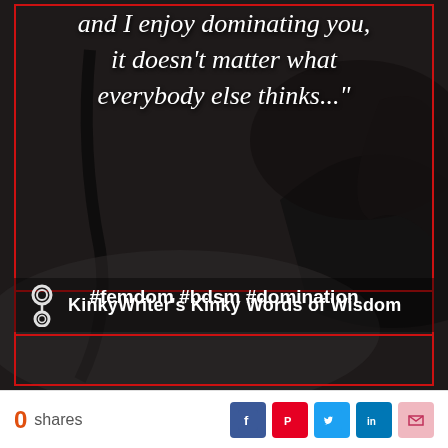[Figure (photo): Dark moody photo showing black leather high-heeled shoe and black clothing, serving as background for text overlay graphic]
and I enjoy dominating you, it doesn't matter what everybody else thinks..."
KinkyWriter's Kinky Words of Wisdom
#femdom #bdsm #domination
0 shares